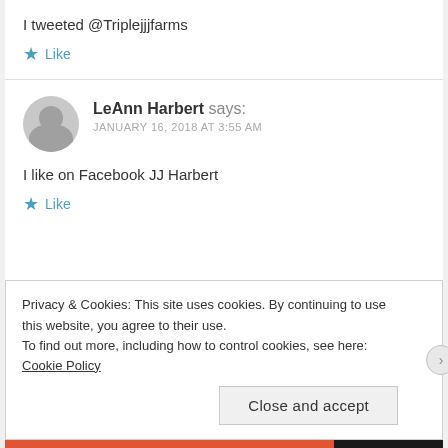I tweeted @Triplejjjfarms
★ Like
LeAnn Harbert says: JANUARY 16, 2018 AT 3:55 AM
I like on Facebook JJ Harbert
★ Like
Privacy & Cookies: This site uses cookies. By continuing to use this website, you agree to their use. To find out more, including how to control cookies, see here: Cookie Policy
Close and accept